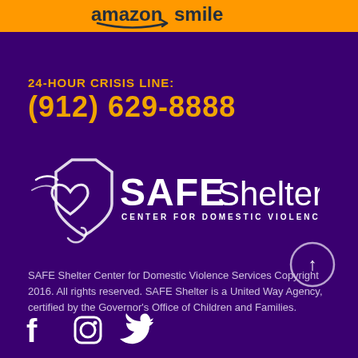[Figure (logo): Amazon Smile logo banner in orange at top]
24-HOUR CRISIS LINE:
(912) 629-8888
[Figure (logo): SAFE Shelter Center for Domestic Violence Services logo in white on purple background]
SAFE Shelter Center for Domestic Violence Services Copyright 2016. All rights reserved. SAFE Shelter is a United Way Agency, certified by the Governor's Office of Children and Families.
[Figure (other): Social media icons: Facebook, Instagram, Twitter in white]